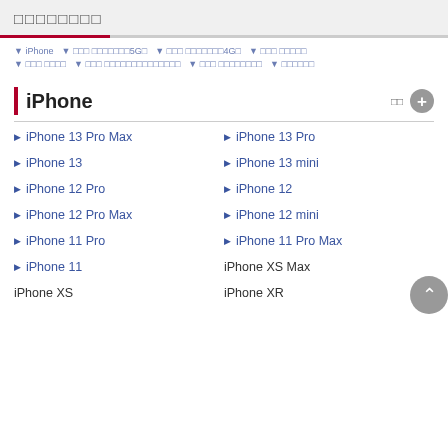□□□□□□□□
▼ iPhone ▼ □□□ □□□□□□□5G□ ▼ □□□ □□□□□□□4G□ ▼ □□□ □□□□□
▼ □□□ □□□□ ▼ □□□ □□□□□□□□□□□□□□ ▼ □□□ □□□□□□□□ ▼ □□□□□□
iPhone
▶ iPhone 13 Pro Max
▶ iPhone 13 Pro
▶ iPhone 13
▶ iPhone 13 mini
▶ iPhone 12 Pro
▶ iPhone 12
▶ iPhone 12 Pro Max
▶ iPhone 12 mini
▶ iPhone 11 Pro
▶ iPhone 11 Pro Max
▶ iPhone 11
iPhone XS Max
iPhone XS
iPhone XR